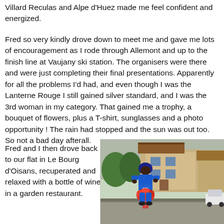Villard Reculas and Alpe d'Huez made me feel confident and energized.
Fred so very kindly drove down to meet me and gave me lots of encouragement as I rode through Allemont and up to the finish line at Vaujany ski station. The organisers were there and were just completing their final presentations. Apparently for all the problems I'd had, and even though I was the Lanterne Rouge I still gained silver standard, and I was the 3rd woman in my category. That gained me a trophy, a bouquet of flowers, plus a T-shirt, sunglasses and a photo opportunity ! The rain had stopped and the sun was out too. So not a bad day afterall.
Fred and I then drove back to our flat in Le Bourg d'Oisans, recuperated and relaxed with a bottle of wine in a garden restaurant.
[Figure (photo): A cyclist wearing a blue helmet and blue cycling jersey (ILWIC / PARAGON) holding a bouquet of flowers, standing in front of a chalet-style building, smiling at the camera.]